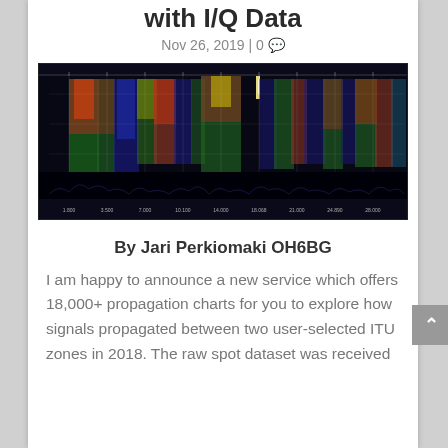with I/Q Data
Nov 26, 2019 | 0
[Figure (other): Wide spectrogram/waterfall radio frequency display showing colorful signal patterns across multiple frequencies, with vertical colored bands of red, green, blue, yellow on a dark background and a black noise floor at the bottom.]
By Jari Perkiomaki OH6BG
I am happy to announce a new service which offers 18,000+ propagation charts for you to explore how signals propagated between two user-selected ITU zones in 2018. The raw spot dataset was received